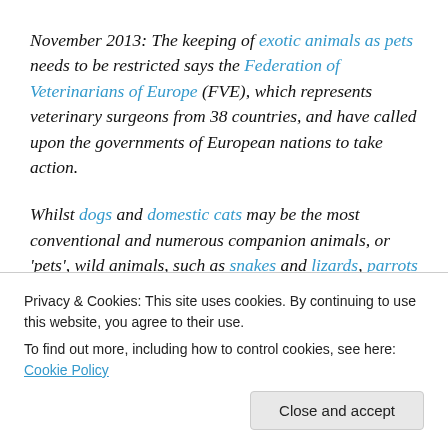November 2013: The keeping of exotic animals as pets needs to be restricted says the Federation of Veterinarians of Europe (FVE), which represents veterinary surgeons from 38 countries, and have called upon the governments of European nations to take action.
Whilst dogs and domestic cats may be the most conventional and numerous companion animals, or 'pets', wild animals, such as snakes and lizards, parrots and even meerkats and monkeys, are increasingly in demand across homes in Europe. Wild in nature and often...
Privacy & Cookies: This site uses cookies. By continuing to use this website, you agree to their use. To find out more, including how to control cookies, see here: Cookie Policy